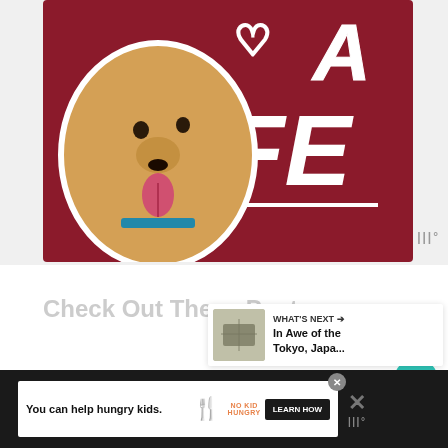[Figure (illustration): Banner image with a golden/tan dog on a dark red/maroon background with bold white text reading 'A LIFE' and a heart icon outline. White outline around the dog.]
Check Out These Posts:
[Figure (infographic): Teal circular button with white heart icon (favorite/like button)]
[Figure (infographic): White circular button with share icon (share button)]
[Figure (infographic): WHAT'S NEXT panel with thumbnail image and text: 'In Awe of the Tokyo, Japa...']
[Figure (infographic): Advertisement bar at bottom: 'You can help hungry kids.' with No Kid Hungry logo and LEARN HOW button on dark background]